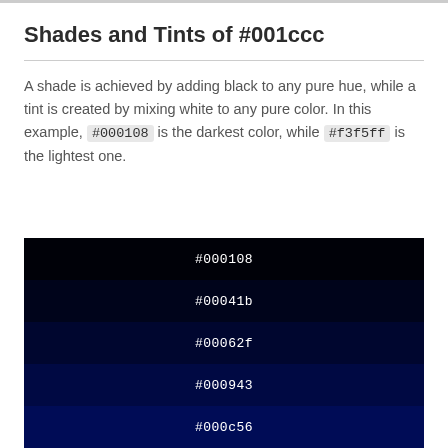Shades and Tints of #001ccc
A shade is achieved by adding black to any pure hue, while a tint is created by mixing white to any pure color. In this example, #000108 is the darkest color, while #f3f5ff is the lightest one.
[Figure (infographic): Five color swatches showing shades of #001ccc from darkest to lightest: #000108, #00041b, #00062f, #000943, #000c56]